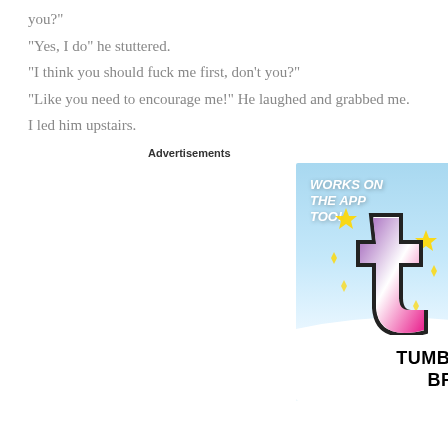you?"
"Yes, I do" he stuttered.
"I think you should fuck me first, don't you?"
"Like you need to encourage me!" He laughed and grabbed me.
I led him upstairs.
Advertisements
[Figure (infographic): Tumblr Ad-Free Browsing advertisement showing $39.99 a year or $4.99 a month + FREE SHIPPING, with Tumblr 't' logo and text 'WORKS ON THE APP TOO!' against a blue sky background. Bottom strip reads 'TUMBLR AD-FREE BROWSING'.]